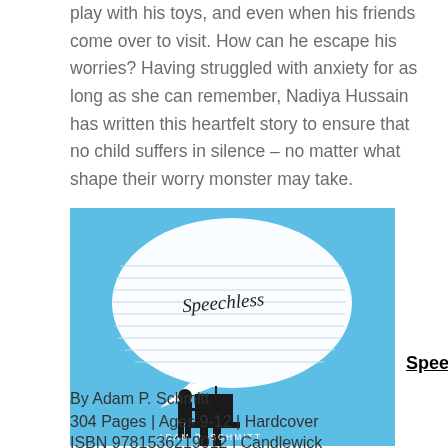play with his toys, and even when his friends come over to visit. How can he escape his worries? Having struggled with anxiety for as long as she can remember, Nadiya Hussain has written this heartfelt story to ensure that no child suffers in silence – no matter what shape their worry monster may take.
[Figure (photo): Book cover of 'Speechless' by Adam P. Schmitt showing a blue background with a large crumpled paper speech bubble and a silhouette of a boy at a podium]
Speechless
By Adam P. Schmitt
304 Pages | Ages 9-12 | Hardcover
ISBN 9781536219012 | Candlewick